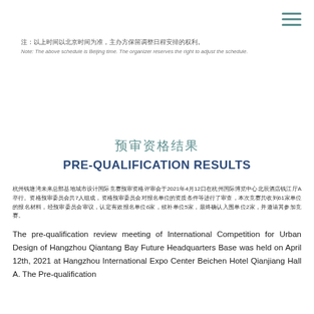注：以上时间以北京时间为准，主办方保留调整日程安排的权利。
Note: The above schedule is Beijing time. The organizer reserves the right to adjust the schedule.
预审资格结果
PRE-QUALIFICATION RESULTS
杭州钱塘湾未来总部基地城市设计国际竞赛预审资格评审会于2021年4月12日在杭州国际博览中心北辰酒店钱江厅A举行。资格预审委员会共7人组成，资格预审委员会对报名单位的资质条件等进行了审查，本次竞赛共收到61家单位的报名材料，经预审委员会审议，认定有效报名单位6家，候补单位5家，最终确认入围单位2家，并邀请其参加竞赛。
The pre-qualification review meeting of International Competition for Urban Design of Hangzhou Qiantang Bay Future Headquarters Base was held on April 12th, 2021 at Hangzhou International Expo Center Beichen Hotel Qianjiang Hall A. The Pre-qualification